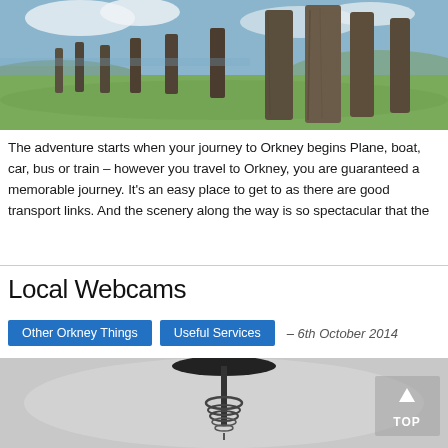[Figure (photo): Standing stones in a green landscape under a partly cloudy sky — Ring of Brodgar or similar Orkney megalithic site]
The adventure starts when your journey to Orkney begins Plane, boat, car, bus or train – however you travel to Orkney, you are guaranteed a memorable journey. It's an easy place to get to as there are good transport links. And the scenery along the way is so spectacular that the
Local Webcams
Other Orkney Things
Useful Services
– 6th October 2014
[Figure (photo): Black and white close-up photograph of a corkscrew or mechanical device, with a semi-transparent 'TOP' navigation button in the bottom right corner]